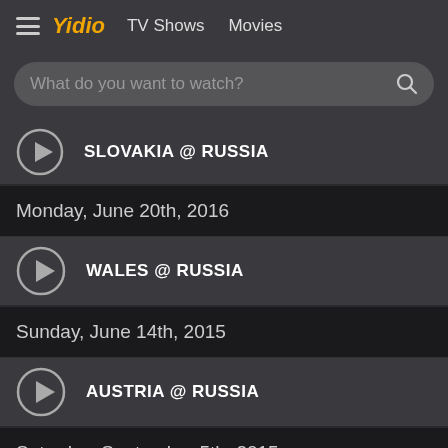Yidio  TV Shows  Movies
What do you want to watch?
SLOVAKIA @ RUSSIA
Monday, June 20th, 2016
WALES @ RUSSIA
Sunday, June 14th, 2015
AUSTRIA @ RUSSIA
Saturday, September 5th, 2015